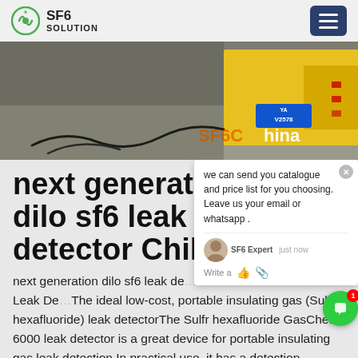SF6 SOLUTION
[Figure (photo): A yellow industrial truck/vehicle with license plate V2578, with cables on the ground, labeled SF6China in orange text overlay]
next generation dilo sf6 leak detector Chile
next generation dilo sf6 leak detector GasCheck 6000 Handheld Leak Detector The ideal low-cost, portable insulating gas (Sulfur hexafluoride) leak detectorThe Sulfr hexafluoride GasCheck 6000 leak detector is a great device for portable insulating gas leak detection.In practical use, it has a detection threshold of 1 x 10-6 mbar l/s, which makes it perfectly suitable for simple leak